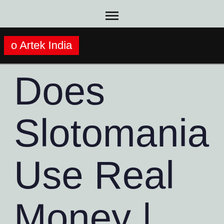☰
o Artek India
Does Slotomania Use Real Money | Fake